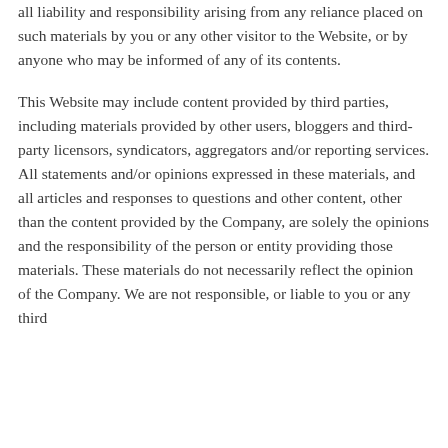all liability and responsibility arising from any reliance placed on such materials by you or any other visitor to the Website, or by anyone who may be informed of any of its contents.
This Website may include content provided by third parties, including materials provided by other users, bloggers and third-party licensors, syndicators, aggregators and/or reporting services. All statements and/or opinions expressed in these materials, and all articles and responses to questions and other content, other than the content provided by the Company, are solely the opinions and the responsibility of the person or entity providing those materials. These materials do not necessarily reflect the opinion of the Company. We are not responsible, or liable to you or any third